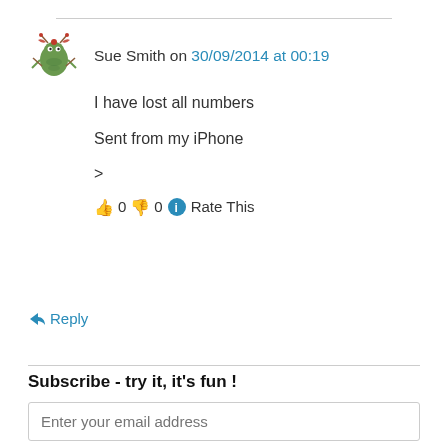Sue Smith on 30/09/2014 at 00:19
I have lost all numbers
Sent from my iPhone
>
👍 0 👎 0 ℹ️ Rate This
↪ Reply
Subscribe - try it, it's fun !
Enter your email address
Then click here